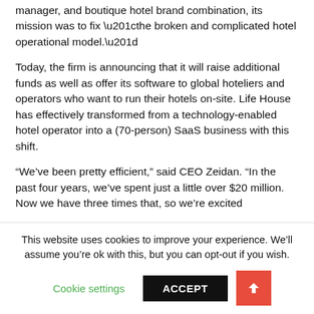manager, and boutique hotel brand combination, its mission was to fix “the broken and complicated hotel operational model.”
Today, the firm is announcing that it will raise additional funds as well as offer its software to global hoteliers and operators who want to run their hotels on-site. Life House has effectively transformed from a technology-enabled hotel operator into a (70-person) SaaS business with this shift.
“We’ve been pretty efficient,” said CEO Zeidan. “In the past four years, we’ve spent just a little over $20 million. Now we have three times that, so we’re excited
This website uses cookies to improve your experience. We’ll assume you’re ok with this, but you can opt-out if you wish.